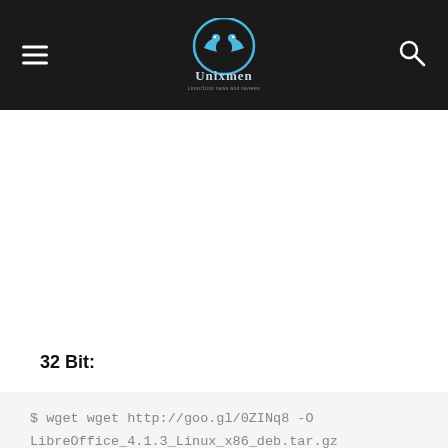Unixmen — Linux/Unix news and reviews
32 Bit: